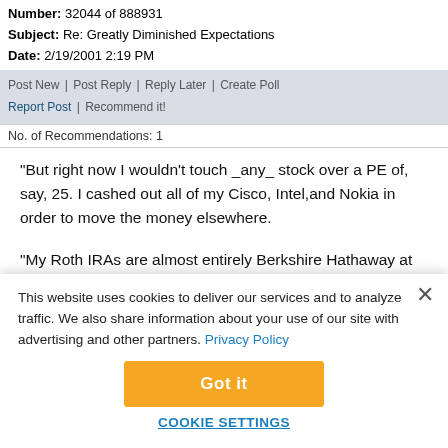Number: 32044 of 888931
Subject: Re: Greatly Diminished Expectations
Date: 2/19/2001 2:19 PM
Post New | Post Reply | Reply Later | Create Poll
Report Post | Recommend it!
No. of Recommendations: 1
"But right now I wouldn't touch _any_ stock over a PE of, say, 25. I cashed out all of my Cisco, Intel,and Nokia in order to move the money elsewhere.

"My Roth IRAs are almost entirely Berkshire Hathaway at this point. 401K's are a problem because I can't trade them individually there — I have other accounts..."
This website uses cookies to deliver our services and to analyze traffic. We also share information about your use of our site with advertising and other partners. Privacy Policy
Got it
Cookie Settings